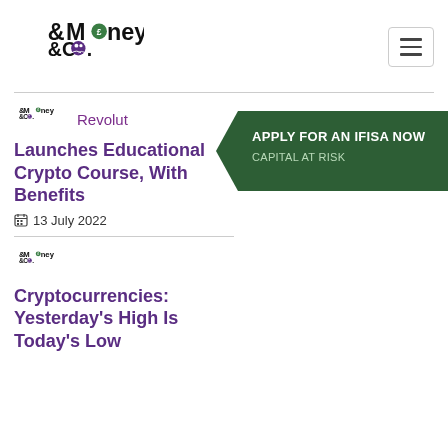[Figure (logo): Money & Co. logo with pound coin and people icon]
[Figure (other): Hamburger menu icon button]
[Figure (logo): Small Money & Co. logo]
Revolut
Launches Educational Crypto Course, With Benefits
13 July 2022
[Figure (other): Apply for an IFISA Now — Capital at Risk green arrow banner]
[Figure (logo): Small Money & Co. logo]
Cryptocurrencies: Yesterday's High Is Today's Low